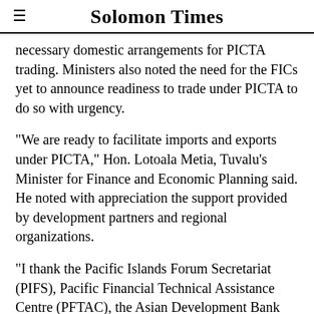Solomon Times
necessary domestic arrangements for PICTA trading. Ministers also noted the need for the FICs yet to announce readiness to trade under PICTA to do so with urgency.
"We are ready to facilitate imports and exports under PICTA," Hon. Lotoala Metia, Tuvalu's Minister for Finance and Economic Planning said. He noted with appreciation the support provided by development partners and regional organizations.
"I thank the Pacific Islands Forum Secretariat (PIFS), Pacific Financial Technical Assistance Centre (PFTAC), the Asian Development Bank (ADB), AusAID and NZAID's support in assisting Tuvalu to undertake the reforms necessary to engage in the trade liberalization initiatives," Minister Metia stated.